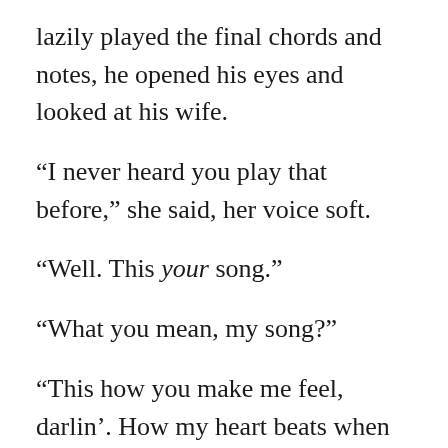lazily played the final chords and notes, he opened his eyes and looked at his wife.
“I never heard you play that before,” she said, her voice soft.
“Well. This your song.”
“What you mean, my song?”
“This how you make me feel, darlin’. How my heart beats when you around.” He reached over and touched her cheek. “Without you, there’d be no music.”
So, when Mr. Johnson sat down